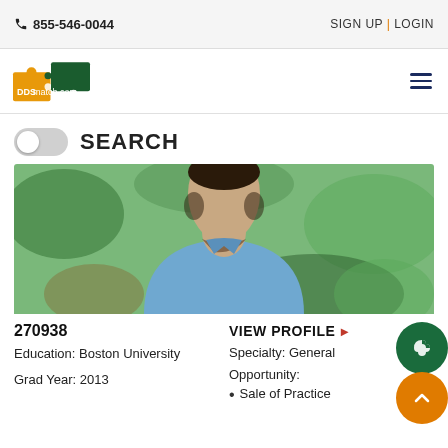855-546-0044   SIGN UP | LOGIN
[Figure (logo): DDSmatch.com puzzle piece logo in orange and dark green]
SEARCH
[Figure (photo): Professional headshot of a man in a blue button-up shirt outdoors with blurred green background]
270938
VIEW PROFILE ▶
Education: Boston University
Specialty: General
Grad Year: 2013
Opportunity:
Sale of Practice